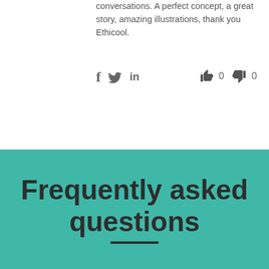conversations. A perfect concept, a great story, amazing illustrations, thank you Ethicool.
[Figure (infographic): Social sharing icons (Facebook, Twitter, LinkedIn) and vote buttons (thumbs up: 0, thumbs down: 0)]
Frequently asked questions